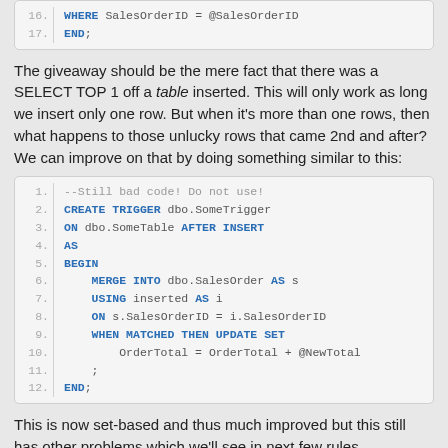[Figure (screenshot): Code block showing lines 16-17: WHERE SalesOrderID = @SalesOrderID and END;]
The giveaway should be the mere fact that there was a SELECT TOP 1 off a table inserted. This will only work as long we insert only one row. But when it's more than one rows, then what happens to those unlucky rows that came 2nd and after? We can improve on that by doing something similar to this:
[Figure (screenshot): Code block lines 1-12: --Still bad code! Do not use! CREATE TRIGGER dbo.SomeTrigger ON dbo.SomeTable AFTER INSERT AS BEGIN MERGE INTO dbo.SalesOrder AS s USING inserted AS i ON s.SalesOrderID = i.SalesOrderID WHEN MATCHED THEN UPDATE SET OrderTotal = OrderTotal + @NewTotal ; END;]
This is now set-based and thus much improved but this still has other problems which we'll see in next few rules...